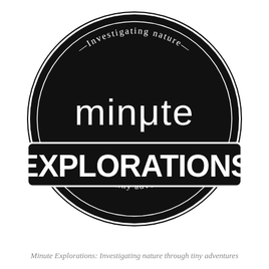[Figure (logo): Circular black logo badge for 'minute Explorations' with text 'Investigating nature' arced along the top inside the circle and 'through tiny adventures' arced along the bottom inside the circle. Center shows 'minμte' in white lowercase and 'EXPLORATIONS' in large bold white uppercase letters spanning the width of the circle.]
Minute Explorations: Investigating nature through tiny adventures